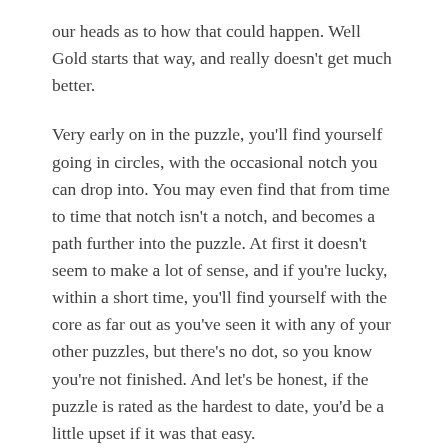our heads as to how that could happen. Well Gold starts that way, and really doesn't get much better.
Very early on in the puzzle, you'll find yourself going in circles, with the occasional notch you can drop into. You may even find that from time to time that notch isn't a notch, and becomes a path further into the puzzle. At first it doesn't seem to make a lot of sense, and if you're lucky, within a short time, you'll find yourself with the core as far out as you've seen it with any of your other puzzles, but there's no dot, so you know you're not finished. And let's be honest, if the puzzle is rated as the hardest to date, you'd be a little upset if it was that easy.
So you've now got the core as far out as you can, but it's not done much for you, and really at this stage you have little idea what you did to get it here. So you decide to go back to the start, and spend some time trying to figure things out. Of course, getting back is almost as much of a journey as